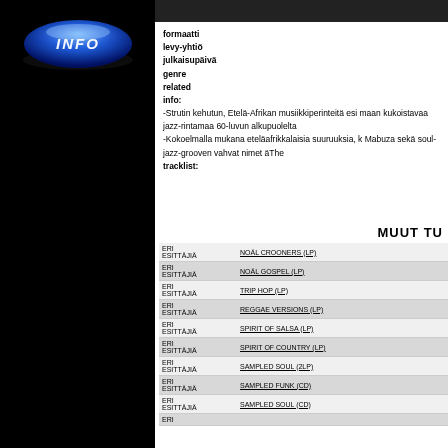[Figure (logo): Blue glowing INFO button on black oval/disc shape]
formaatti
levy-yhtiö
julkaisupäivä
genre
related
info:
-Strutin kehutun, Etelä-Afrikan musiikkiperinteitä esi maan kukoistavaa jazz-rintamaa 60-luvun alkupuolelta
-Kokoelmalla mukana eteläafrikkalaisia suuruuksia, k Mabuza sekä soul-jazz-grooven vahvat nimet äThe
tracklist:
MUUT TU
| ERI ESITTÄJIÄ | NOÄL CROONERS (LP) |
| ERI ESITTÄJIÄ | NOÄL GOSPEL (LP) |
| ERI ESITTÄJIÄ | TRIP HOP (LP) |
| ERI ESITTÄJIÄ | REGGAE VERSIONS (LP) |
| ERI ESITTÄJIÄ | SPIRIT OF SALSA (LP) |
| ERI ESITTÄJIÄ | SPIRIT OF COUNTRY (LP) |
| ERI ESITTÄJIÄ | SAMPLED SOUL (2LP) |
| ERI ESITTÄJIÄ | SAMPLED FUNK (CD) |
| ERI ESITTÄJIÄ | SAMPLED SOUL (CD) |
| ERI |  |